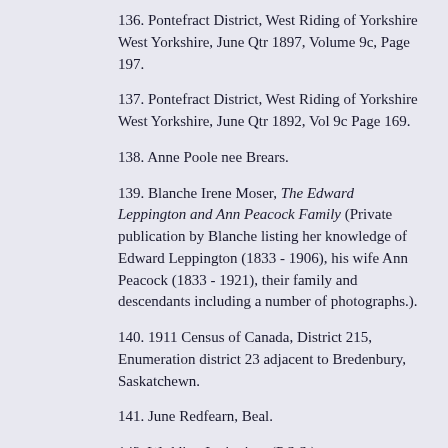136. Pontefract District, West Riding of Yorkshire West Yorkshire, June Qtr 1897, Volume 9c, Page 197.
137. Pontefract District, West Riding of Yorkshire West Yorkshire, June Qtr 1892, Vol 9c Page 169.
138. Anne Poole nee Brears.
139. Blanche Irene Moser, The Edward Leppington and Ann Peacock Family (Private publication by Blanche listing her knowledge of Edward Leppington (1833 - 1906), his wife Ann Peacock (1833 - 1921), their family and descendants including a number of photographs.).
140. 1911 Census of Canada, District 215, Enumeration district 23 adjacent to Bredenbury, Saskatchewn.
141. June Redfearn, Beal.
142. Wedding Invitation. (P.S.S.).